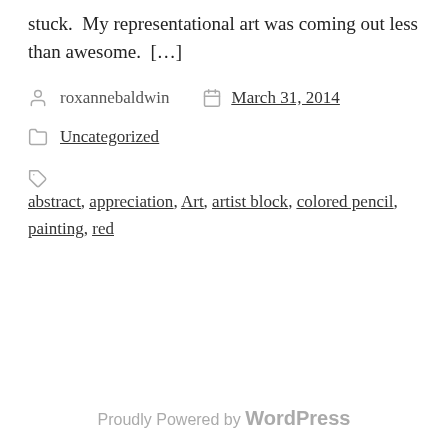stuck.  My representational art was coming out less than awesome.  […]
roxannebaldwin   March 31, 2014
Uncategorized
abstract, appreciation, Art, artist block, colored pencil, painting, red
Proudly Powered by WordPress